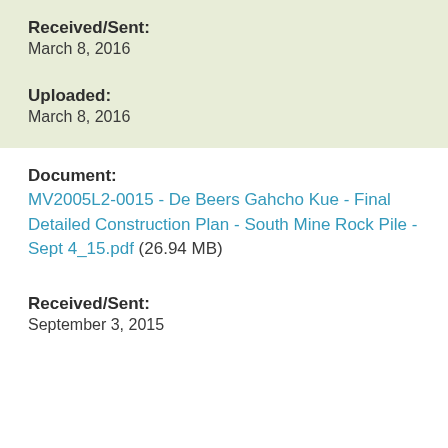Received/Sent:
March 8, 2016
Uploaded:
March 8, 2016
Document:
MV2005L2-0015 - De Beers Gahcho Kue - Final Detailed Construction Plan - South Mine Rock Pile - Sept 4_15.pdf (26.94 MB)
Received/Sent:
September 3, 2015